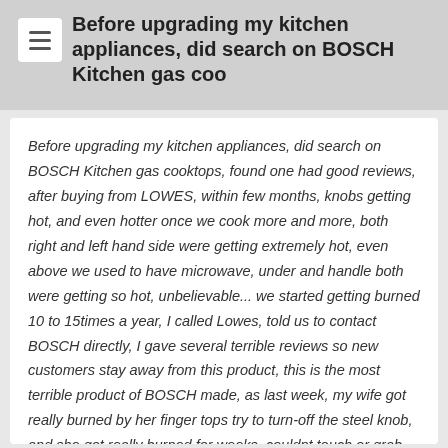Before upgrading my kitchen appliances, did search on BOSCH Kitchen gas coo
Before upgrading my kitchen appliances, did search on BOSCH Kitchen gas cooktops, found one had good reviews, after buying from LOWES, within few months, knobs getting hot, and even hotter once we cook more and more, both right and left hand side were getting extremely hot, even above we used to have microwave, under and handle both were getting so hot, unbelievable... we started getting burned 10 to 15times a year, I called Lowes, told us to contact BOSCH directly, I gave several terrible reviews so new customers stay away from this product, this is the most terrible product of BOSCH made, as last week, my wife got really burned by her finger tops try to turn-off the steel knob, and she got really burned for weeks, couldnt touch or grab anything from that